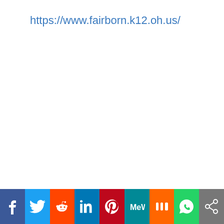https://www.fairborn.k12.oh.us/
[Figure (infographic): Social media sharing bar with icons for Facebook, Twitter, Reddit, LinkedIn, Pinterest, MeWe, Mix, WhatsApp, and a generic share button]